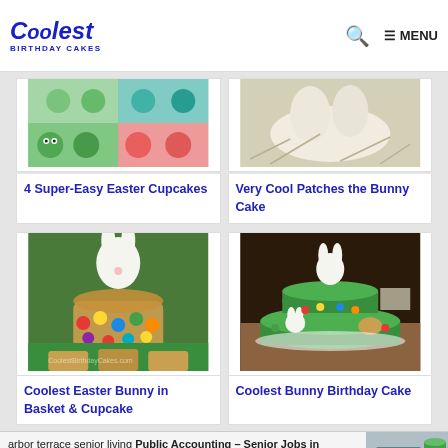Coolest Birthday Cakes — MENU
[Figure (photo): 4 Super-Easy Easter Cupcakes — green and decorated cupcakes collage]
4 Super-Easy Easter Cupcakes
[Figure (photo): Very Cool Patches the Bunny Cake — white bunny sleeping photo]
Very Cool Patches the Bunny Cake
[Figure (photo): Coolest Easter Bunny in Basket & Cupcake — white bunny figurine on cupcakes with colorful candies]
Coolest Easter Bunny in Basket & Cupcake
[Figure (photo): Coolest Bunny Birthday Cake — two-tier green cake with bunny figures]
Coolest Bunny Birthday Cake
arbor terrace senior living Public Accounting – Senior Jobs in Ashburn Apply Now
jiobble.com
[Figure (photo): Ad image — person at laptop]
[Figure (photo): Bottom left partial cake image — green Easter cake]
[Figure (photo): Bottom right partial cake image — green cake in tray]